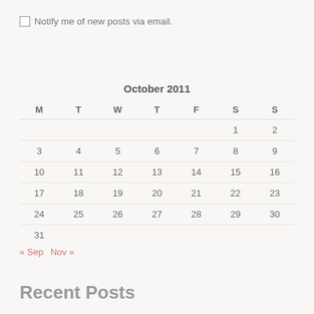Notify me of new posts via email.
| M | T | W | T | F | S | S |
| --- | --- | --- | --- | --- | --- | --- |
|  |  |  |  |  | 1 | 2 |
| 3 | 4 | 5 | 6 | 7 | 8 | 9 |
| 10 | 11 | 12 | 13 | 14 | 15 | 16 |
| 17 | 18 | 19 | 20 | 21 | 22 | 23 |
| 24 | 25 | 26 | 27 | 28 | 29 | 30 |
| 31 |  |  |  |  |  |  |
« Sep   Nov »
Recent Posts